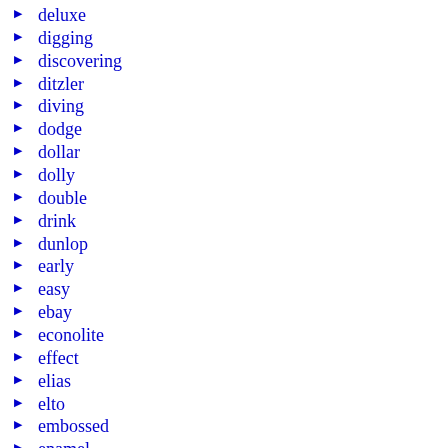deluxe
digging
discovering
ditzler
diving
dodge
dollar
dolly
double
drink
dunlop
early
easy
ebay
econolite
effect
elias
elto
embossed
enamel
epic
etsy
evinrude